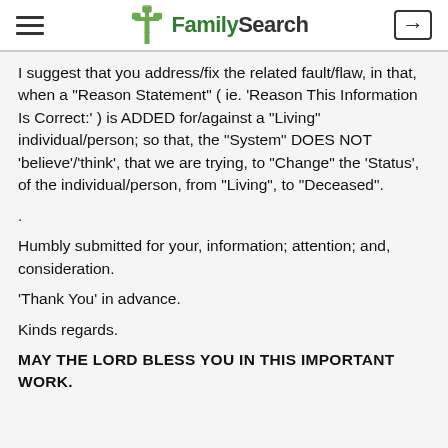FamilySearch
I suggest that you address/fix the related fault/flaw, in that, when a "Reason Statement" ( ie. 'Reason This Information Is Correct:' ) is ADDED for/against a "Living" individual/person; so that, the "System" DOES NOT 'believe'/'think', that we are trying, to "Change" the 'Status', of the individual/person, from "Living", to "Deceased".
.
Humbly submitted for your, information; attention; and, consideration.
'Thank You' in advance.
Kinds regards.
MAY THE LORD BLESS YOU IN THIS IMPORTANT WORK.